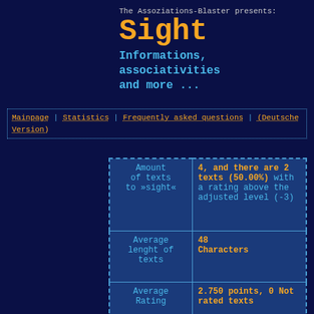The Assoziations-Blaster presents:
Sight
Informations, associativities and more ...
Mainpage | Statistics | Frequently asked questions | (Deutsche Version)
|  |  |
| --- | --- |
| Amount of texts to »sight« | 4, and there are 2 texts (50.00%) with a rating above the adjusted level (-3) |
| Average lenght of texts | 48 Characters |
| Average Rating | 2.750 points, 0 Not rated texts |
| Time ... | on Jan 30th |